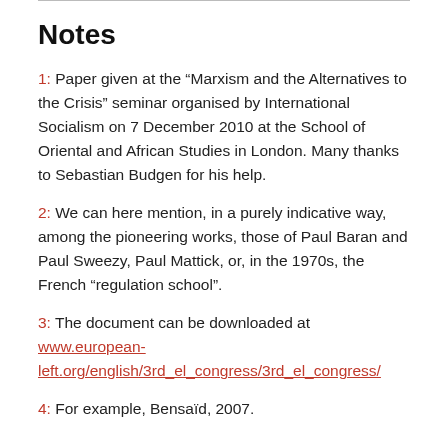Notes
1: Paper given at the “Marxism and the Alternatives to the Crisis” seminar organised by International Socialism on 7 December 2010 at the School of Oriental and African Studies in London. Many thanks to Sebastian Budgen for his help.
2: We can here mention, in a purely indicative way, among the pioneering works, those of Paul Baran and Paul Sweezy, Paul Mattick, or, in the 1970s, the French “regulation school”.
3: The document can be downloaded at www.european-left.org/english/3rd_el_congress/3rd_el_congress/
4: For example, Bensaïd, 2007.